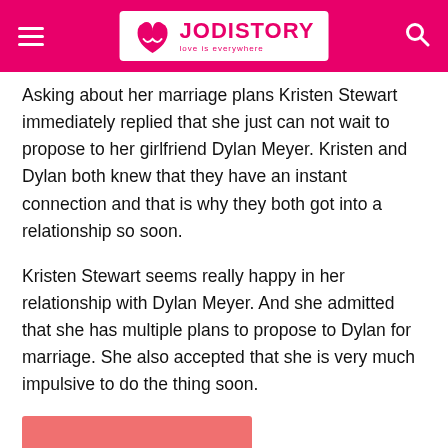JODISTORY – love is everywhere
Asking about her marriage plans Kristen Stewart immediately replied that she just can not wait to propose to her girlfriend Dylan Meyer. Kristen and Dylan both knew that they have an instant connection and that is why they both got into a relationship so soon.
Kristen Stewart seems really happy in her relationship with Dylan Meyer. And she admitted that she has multiple plans to propose to Dylan for marriage. She also accepted that she is very much impulsive to do the thing soon.
[Figure (other): Pink/salmon colored rectangular image block at bottom left, partially visible]